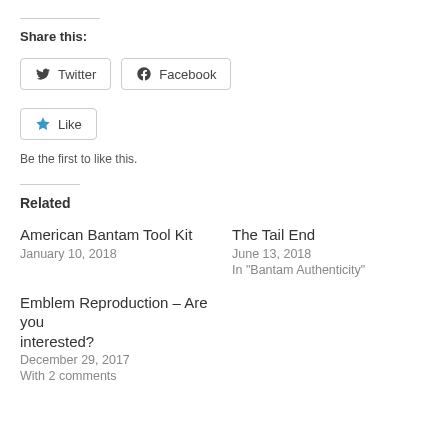Share this:
[Figure (screenshot): Twitter and Facebook share buttons]
[Figure (screenshot): Like button with star icon]
Be the first to like this.
Related
American Bantam Tool Kit
January 10, 2018
The Tail End
June 13, 2018
In "Bantam Authenticity"
Emblem Reproduction – Are you interested?
December 29, 2017
With 2 comments